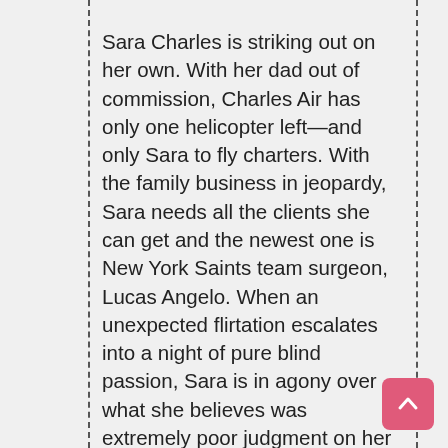Sara Charles is striking out on her own. With her dad out of commission, Charles Air has only one helicopter left—and only Sara to fly charters. With the family business in jeopardy, Sara needs all the clients she can get and the newest one is New York Saints team surgeon, Lucas Angelo. When an unexpected flirtation escalates into a night of pure blind passion, Sara is in agony over what she believes was extremely poor judgment on her part. She wants nothing more than to avoid Lucas. And keep her business her business. But she and his is...